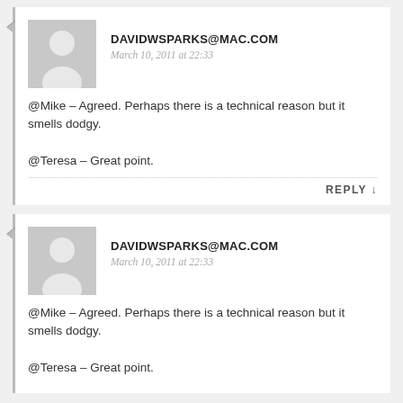DAVIDWSPARKS@MAC.COM
March 10, 2011 at 22:33
@Mike – Agreed. Perhaps there is a technical reason but it smells dodgy.

@Teresa – Great point.
REPLY ↓
DAVIDWSPARKS@MAC.COM
March 10, 2011 at 22:33
@Mike – Agreed. Perhaps there is a technical reason but it smells dodgy.

@Teresa – Great point.